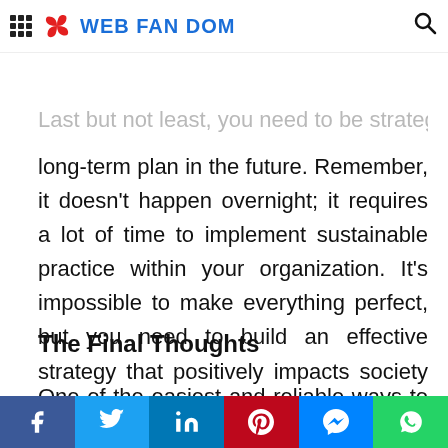WEB FAN DOM
Last but not least, you need to be strategic and have a long-term plan in the future. Remember, it doesn't happen overnight; it requires a lot of time to implement sustainable practice within your organization. It's impossible to make everything perfect, but you need to build an effective strategy that positively impacts society and the economy. One last thing to keep in mind is that you can make a change when the entire organization works towards this.
The Final Thoughts
One of the easiest and reliable ways to adopt sustainability is to collaborate with an organization t…
Facebook Twitter LinkedIn Pinterest Messenger WhatsApp